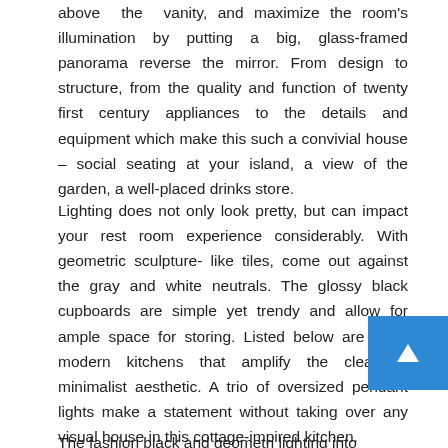above the vanity, and maximize the room's illumination by putting a big, glass-framed panorama reverse the mirror. From design to structure, from the quality and function of twenty first century appliances to the details and equipment which make this such a convivial house – social seating at your island, a view of the garden, a well-placed drinks store.
Lighting does not only look pretty, but can impact your rest room experience considerably. With geometric sculpture-like tiles, come out against the gray and white neutrals. The glossy black cupboards are simple yet trendy and allow for ample space for storing. Listed below are three modern kitchens that amplify the clear-cut, minimalist aesthetic. A trio of oversized pendant lights make a statement without taking over any visual house in this cottage-inspired kitchen.
The fashion black and geometri lighting into...